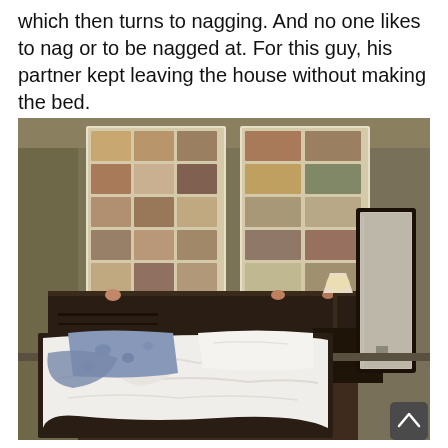which then turns to nagging. And no one likes to nag or to be nagged at. For this guy, his partner kept leaving the house without making the bed.
[Figure (photo): A bedroom with an unmade bed. The bed has white sheets and pillows in disarray, with a blue floral pillow visible. Behind the bed is a dark wooden headboard and dresser. Two framed grid-style art prints hang on the olive/tan wall. A floor-length dark mirror stands on the right side. A lamp is visible on the nightstand. The room has hardwood floors.]